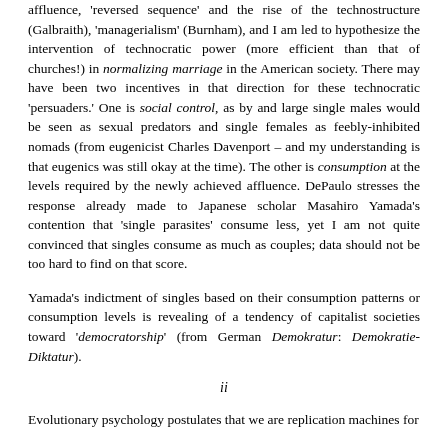affluence, 'reversed sequence' and the rise of the technostructure (Galbraith), 'managerialism' (Burnham), and I am led to hypothesize the intervention of technocratic power (more efficient than that of churches!) in normalizing marriage in the American society. There may have been two incentives in that direction for these technocratic 'persuaders.' One is social control, as by and large single males would be seen as sexual predators and single females as feebly-inhibited nomads (from eugenicist Charles Davenport – and my understanding is that eugenics was still okay at the time). The other is consumption at the levels required by the newly achieved affluence. DePaulo stresses the response already made to Japanese scholar Masahiro Yamada's contention that 'single parasites' consume less, yet I am not quite convinced that singles consume as much as couples; data should not be too hard to find on that score.
Yamada's indictment of singles based on their consumption patterns or consumption levels is revealing of a tendency of capitalist societies toward 'democratorship' (from German Demokratur: Demokratie-Diktatur).
ii
Evolutionary psychology postulates that we are replication machines for